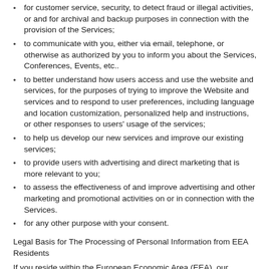for customer service, security, to detect fraud or illegal activities, or and for archival and backup purposes in connection with the provision of the Services;
to communicate with you, either via email, telephone, or otherwise as authorized by you to inform you about the Services, Conferences, Events, etc..
to better understand how users access and use the website and services, for the purposes of trying to improve the Website and services and to respond to user preferences, including language and location customization, personalized help and instructions, or other responses to users' usage of the services;
to help us develop our new services and improve our existing services;
to provide users with advertising and direct marketing that is more relevant to you;
to assess the effectiveness of and improve advertising and other marketing and promotional activities on or in connection with the Services.
for any other purpose with your consent.
Legal Basis for The Processing of Personal Information from EEA Residents
If you reside within the European Economic Area (EEA), our processing of your personal information will be legitimized as follows:
Whenever we require your consent for the processing of your personal information such processing will be justified pursuant to Article 6(1) lit. (a) of the General Data